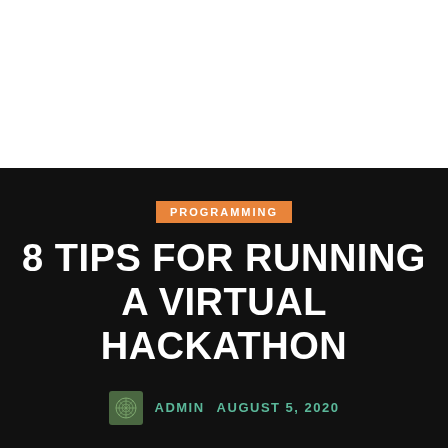[Figure (illustration): White section at top of page serving as image/hero area background]
PROGRAMMING
8 TIPS FOR RUNNING A VIRTUAL HACKATHON
ADMIN   AUGUST 5, 2020